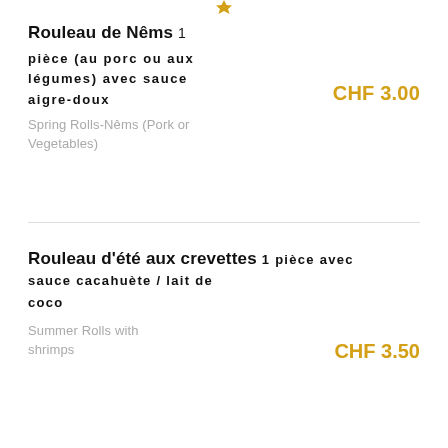[Figure (illustration): Small yellow star or flower decoration at top center]
Rouleau de Nêms 1
pièce (au porc ou aux légumes) avec sauce aigre-doux
Spring Rolls-Nêms (Pork or Vegetables)
CHF 3.00
Rouleau d'été aux crevettes 1 pièce avec sauce cacahuète / lait de coco
Summer Rolls with shrimps
CHF 3.50